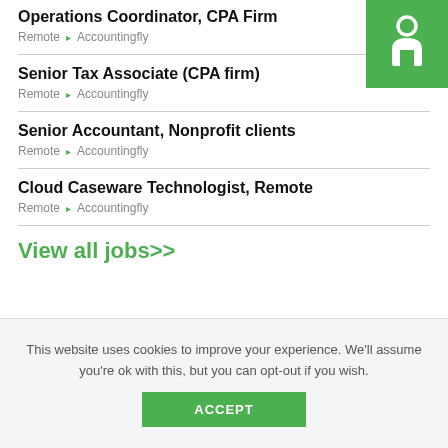[Figure (logo): Green square logo with white stylized figure icon]
Operations Coordinator, CPA Firm
Remote ▸ Accountingfly
Senior Tax Associate (CPA firm)
Remote ▸ Accountingfly
Senior Accountant, Nonprofit clients
Remote ▸ Accountingfly
Cloud Caseware Technologist, Remote
Remote ▸ Accountingfly
View all jobs>>
This website uses cookies to improve your experience. We'll assume you're ok with this, but you can opt-out if you wish.
ACCEPT